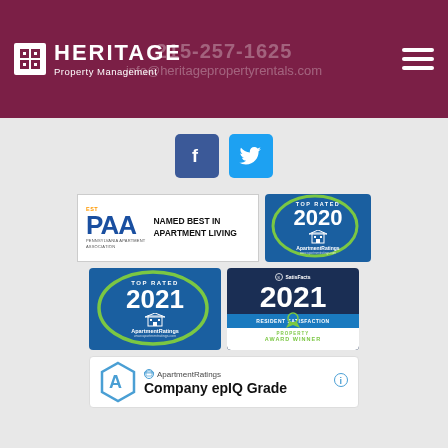Heritage Property Management — 215-257-1625 — info@heritagepropertyrentals.com
[Figure (logo): Heritage Property Management logo with social media icons (Facebook and Twitter)]
[Figure (illustration): PAA - Pennsylvania Apartment Association badge: Named Best in Apartment Living]
[Figure (illustration): ApartmentRatings Top Rated 2020 badge]
[Figure (illustration): ApartmentRatings Top Rated 2021 badge]
[Figure (illustration): SatisFacts 2021 Resident Satisfaction Property Award Winner badge]
[Figure (illustration): ApartmentRatings Company epIQ Grade badge (partial)]